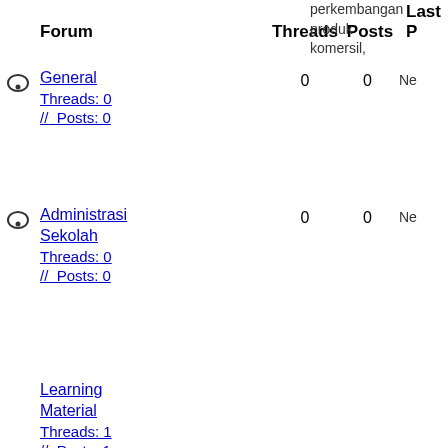Forum   Threads   Posts   Last Post
perkembangan produk komersil,
General Threads: 0 // Posts: 0 | 0 | 0 | Ne
Administrasi Sekolah Threads: 0 // Posts: 0 | 0 | 0 | Ne
Learning Material Threads: 1 // Posts: 1 | Sub Forums: | 1 | 1 | Rangkuman PPT 10-26-2021, 03:34 PM, zalfafiri
SD, SMP, and 1 more.
Kegiatan Belajar Mengajar Threads: 0